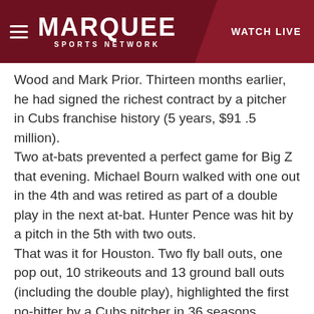MARQUEE SPORTS NETWORK — WATCH LIVE
Wood and Mark Prior. Thirteen months earlier, he had signed the richest contract by a pitcher in Cubs franchise history (5 years, $91 .5 million).
Two at-bats prevented a perfect game for Big Z that evening. Michael Bourn walked with one out in the 4th and was retired as part of a double play in the next at-bat. Hunter Pence was hit by a pitch in the 5th with two outs.
That was it for Houston. Two fly ball outs, one pop out, 10 strikeouts and 13 ground ball outs (including the double play), highlighted the first no-hitter by a Cubs pitcher in 36 seasons.